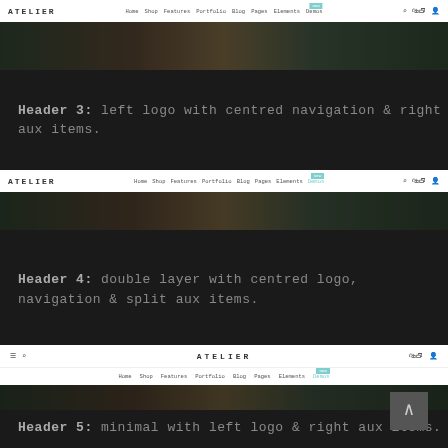[Figure (screenshot): Header 3 bar: ATELIER logo left, centred navigation menu (Home, Shop, Features, Portfolio, Blog, Pages, Elements, Demos with NEW badge), search and cart icons right]
[Figure (photo): Forest/nature image strip]
Header 3: left logo with centred navigation & right aux items.
[Figure (screenshot): Header 4 bar: ATELIER logo left, navigation (Home, Shop, Features, Portfolio, Blog, Pages, Elements, Demos with NEW badge), search and cart icons right]
[Figure (photo): Forest/nature image strip]
Header 4: double layer with centred logo, navigation & split aux items.
[Figure (screenshot): Header 5: double-layer bar with hamburger and search left, ATELIER centred logo, cart and user icons right; second row with navigation (Home, Shop, Features, Portfolio, Blog, Pages, Elements, Demos with NEW badge)]
[Figure (photo): Forest/nature image strip]
Header 5: minimal with left logo & right aux items.